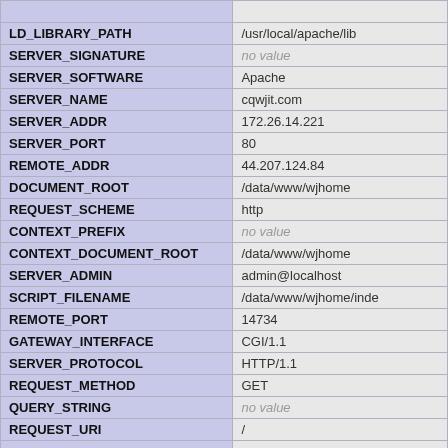| Key | Value |
| --- | --- |
| LD_LIBRARY_PATH | /usr/local/apache/lib |
| SERVER_SIGNATURE | no value |
| SERVER_SOFTWARE | Apache |
| SERVER_NAME | cqwjit.com |
| SERVER_ADDR | 172.26.14.221 |
| SERVER_PORT | 80 |
| REMOTE_ADDR | 44.207.124.84 |
| DOCUMENT_ROOT | /data/www/wjhome |
| REQUEST_SCHEME | http |
| CONTEXT_PREFIX | no value |
| CONTEXT_DOCUMENT_ROOT | /data/www/wjhome |
| SERVER_ADMIN | admin@localhost |
| SCRIPT_FILENAME | /data/www/wjhome/inde |
| REMOTE_PORT | 14734 |
| GATEWAY_INTERFACE | CGI/1.1 |
| SERVER_PROTOCOL | HTTP/1.1 |
| REQUEST_METHOD | GET |
| QUERY_STRING | no value |
| REQUEST_URI | / |